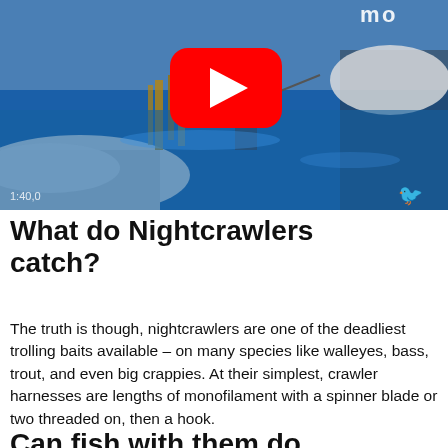[Figure (screenshot): YouTube video thumbnail showing a person fishing in a winter river scene with snow on the banks, blue water, and a YouTube play button overlay in the center. A red bird logo appears in the bottom right corner.]
What do Nightcrawlers catch?
The truth is though, nightcrawlers are one of the deadliest trolling baits available – on many species like walleyes, bass, trout, and even big crappies. At their simplest, crawler harnesses are lengths of monofilament with a spinner blade or two threaded on, then a hook.
Can I fish with them down?